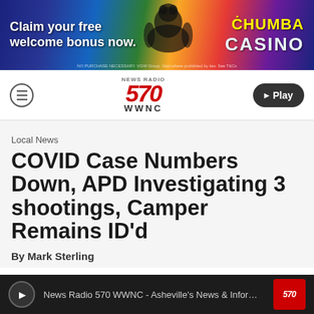[Figure (other): Chumba Casino advertisement banner: colorful background with text 'Claim your free welcome bonus now.' and 'CHUMBA CASINO' logo. Fine print disclaimer at bottom.]
News Radio 570 WWNC with hamburger menu and Play button
Local News
COVID Case Numbers Down, APD Investigating 3 shootings, Camper Remains ID'd
By Mark Sterling
News Radio 570 WWNC - Asheville's News & Informati...